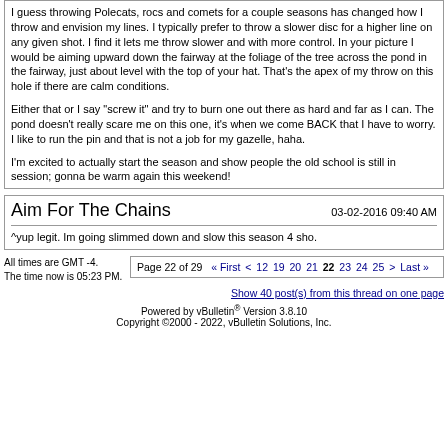I guess throwing Polecats, rocs and comets for a couple seasons has changed how I throw and envision my lines. I typically prefer to throw a slower disc for a higher line on any given shot. I find it lets me throw slower and with more control. In your picture I would be aiming upward down the fairway at the foliage of the tree across the pond in the fairway, just about level with the top of your hat. That's the apex of my throw on this hole if there are calm conditions.

Either that or I say "screw it" and try to burn one out there as hard and far as I can. The pond doesn't really scare me on this one, it's when we come BACK that I have to worry. I like to run the pin and that is not a job for my gazelle, haha.

I'm excited to actually start the season and show people the old school is still in session; gonna be warm again this weekend!
Aim For The Chains   03-02-2016 09:40 AM
^yup legit. Im going slimmed down and slow this season 4 sho.
All times are GMT -4. The time now is 05:23 PM.
Page 22 of 29   « First < 12 19 20 21 22 23 24 25 > Last »
Show 40 post(s) from this thread on one page
Powered by vBulletin® Version 3.8.10
Copyright ©2000 - 2022, vBulletin Solutions, Inc.